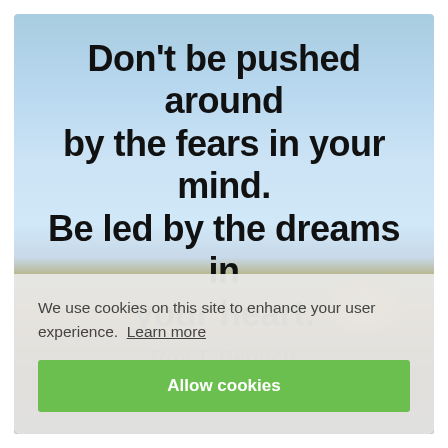[Figure (photo): Background photo showing a sky with warm sunset tones at the bottom, likely an outdoor scene with a person silhouetted at the horizon.]
Don't be pushed around by the fears in your mind. Be led by the dreams in your heart.
Roy T. Bennett
We use cookies on this site to enhance your user experience.  Learn more
Allow cookies